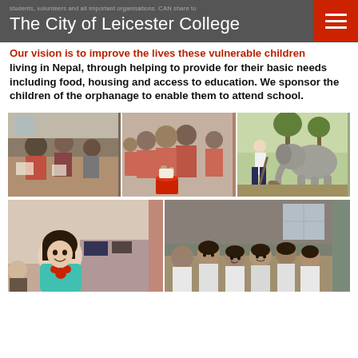students, volunteers and all important organisations. CAN share to
The City of Leicester College
Our vision is to improve the lives these vulnerable children living in Nepal, through helping to provide for their basic needs including food, housing and access to education. We sponsor the children of the orphanage to enable them to attend school.
[Figure (photo): Three photos in a row: left - children studying/doing crafts at tables; center - girls in red uniforms washing hands with a red bucket; right - person shoveling near an elephant outdoors]
[Figure (photo): Two photos in a row: left - young girl smiling in a room with a Minnie Mouse shirt; right - group of children in school uniforms seated in a classroom]